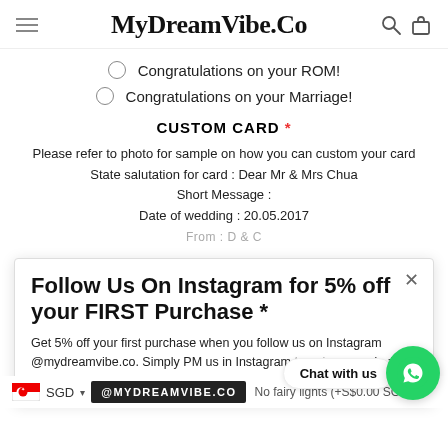MyDreamVibe.Co
Congratulations on your ROM!
Congratulations on your Marriage!
CUSTOM CARD *
Please refer to photo for sample on how you can custom your card
State salutation for card : Dear Mr & Mrs Chua
Short Message :
Date of wedding : 20.05.2017
From : D & C
Follow Us On Instagram for 5% off your FIRST Purchase *
Get 5% off your first purchase when you follow us on Instagram @mydreamvibe.co. Simply PM us in Instagram to get your code :) *Not valid for Bridesmaids/Grooms
ADD : FAIRY LIG...
SGD
@MYDREAMVIBE.CO
No fairy lights (+S$0.00 SGD)